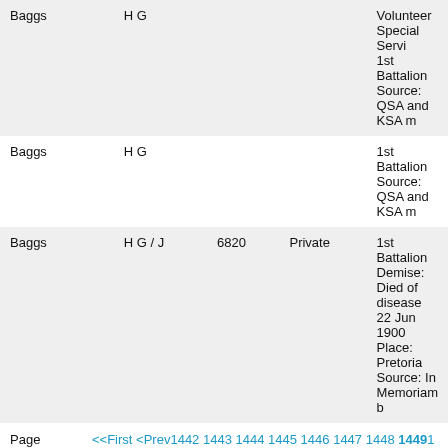| Surname | Initials | Number | Rank | Details |
| --- | --- | --- | --- | --- |
| Baggs | H G |  |  | Volunteer Special Servi...
1st Battalion
Source: QSA and KSA m... |
| Baggs | H G |  |  | 1st Battalion
Source: QSA and KSA m... |
| Baggs | H G / J | 6820 | Private | 1st Battalion
Demise: Died of disease...
22 Jun 1900
Place: Pretoria
Source: In Memoriam b... |
Page 1449 of 50196  <<First <Prev 1442 1443 1444 1445 1446 1447 1448 1449 1450 1451...
You are here:   ABW home page
Copyright © 2004 - 2022 AngloBoerWar.com. All Rights Reserved.   Back to Top